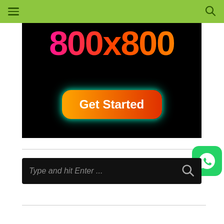Navigation bar with hamburger menu and search icon
[Figure (screenshot): Black banner image showing '800x800' text in pink-to-orange gradient and a 'Get Started' button with orange-to-red gradient and cyan glow]
[Figure (other): WhatsApp icon button (green rounded square with white phone/chat icon)]
Type and hit Enter ...